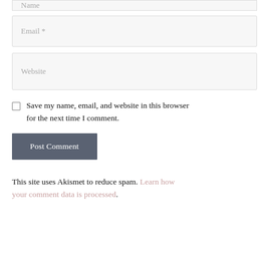[Figure (screenshot): Email input field with placeholder text 'Email *' on a light gray background]
[Figure (screenshot): Website input field with placeholder text 'Website' on a light gray background]
Save my name, email, and website in this browser for the next time I comment.
[Figure (screenshot): 'Post Comment' button with dark gray background and white text]
This site uses Akismet to reduce spam. Learn how your comment data is processed.